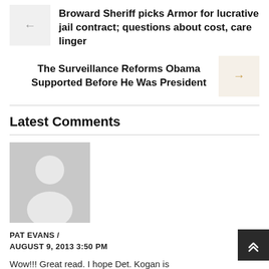Broward Sheriff picks Armor for lucrative jail contract; questions about cost, care linger
The Surveillance Reforms Obama Supported Before He Was President
Latest Comments
[Figure (illustration): Default user avatar placeholder - grey silhouette of a person on grey background]
PAT EVANS / AUGUST 9, 2013 3:50 PM
Wow!!! Great read. I hope Det. Kogan is